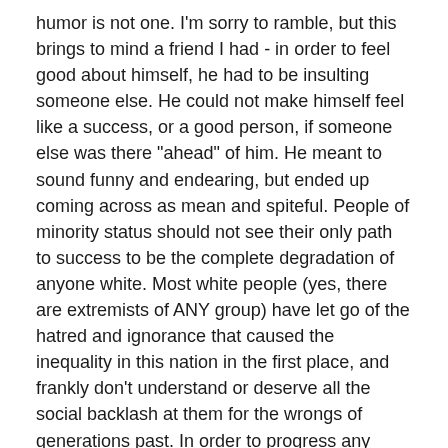humor is not one. I'm sorry to ramble, but this brings to mind a friend I had - in order to feel good about himself, he had to be insulting someone else. He could not make himself feel like a success, or a good person, if someone else was there "ahead" of him. He meant to sound funny and endearing, but ended up coming across as mean and spiteful. People of minority status should not see their only path to success to be the complete degradation of anyone white. Most white people (yes, there are extremists of ANY group) have let go of the hatred and ignorance that caused the inequality in this nation in the first place, and frankly don't understand or deserve all the social backlash at them for the wrongs of generations past. In order to progress any further, other groups need to stop propagating the same hate and ignorance, too.
Andrew Cone — June 30, 2009
I agree with Grizzly and Angela that the video mocks whites as much as blacks. As a white male, I do feel